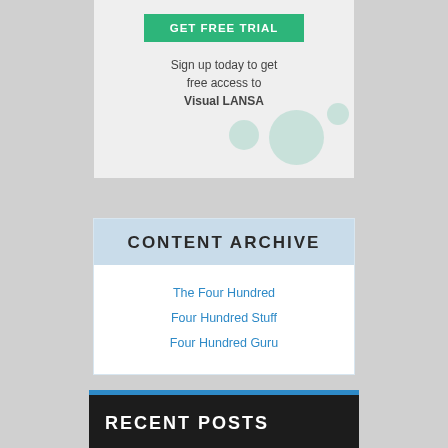[Figure (other): GET FREE TRIAL button — green rounded rectangle with white uppercase text]
Sign up today to get free access to Visual LANSA
CONTENT ARCHIVE
The Four Hundred
Four Hundred Stuff
Four Hundred Guru
RECENT POSTS